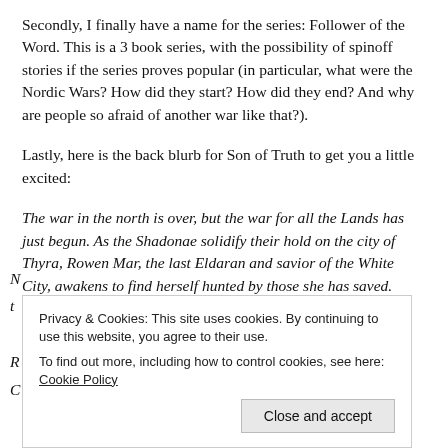Secondly, I finally have a name for the series: Follower of the Word. This is a 3 book series, with the possibility of spinoff stories if the series proves popular (in particular, what were the Nordic Wars? How did they start? How did they end? And why are people so afraid of another war like that?).
Lastly, here is the back blurb for Son of Truth to get you a little excited:
The war in the north is over, but the war for all the Lands has just begun. As the Shadonae solidify their hold on the city of Thyra, Rowen Mar, the last Eldaran and savior of the White City, awakens to find herself hunted by those she has saved.
Privacy & Cookies: This site uses cookies. By continuing to use this website, you agree to their use.
To find out more, including how to control cookies, see here: Cookie Policy
Close and accept